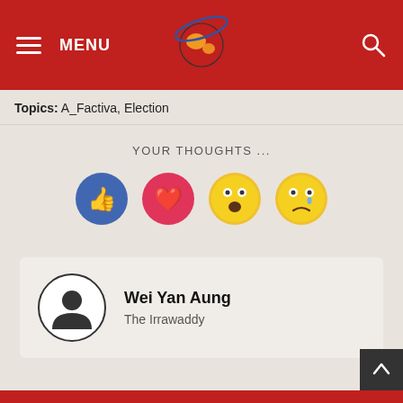MENU  [The Irrawaddy logo]  [Search icon]
Topics: A_Factiva, Election
YOUR THOUGHTS ...
[Figure (illustration): Four reaction emoji buttons: like (blue thumbs up), love (pink heart), wow (yellow open mouth), sad (yellow crying face)]
Wei Yan Aung
The Irrawaddy